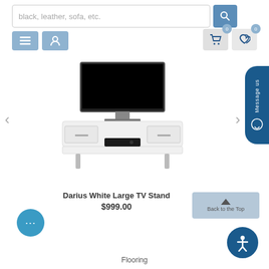[Figure (screenshot): E-commerce website header with search bar reading 'black, leather, sofa, etc.', search button, navigation icons (menu and user), and cart/wishlist icons with 0 badges]
[Figure (photo): Product photo of Darius White Large TV Stand with a flat-screen TV on top, white glossy finish, drawers on each side, metal legs, and a media player on the lower shelf. Left and right navigation arrows shown.]
[Figure (other): Vertical dark blue 'Message us' sidebar button with chat icon]
Darius White Large TV Stand
$999.00
[Figure (other): Blue 'Back to the Top' button with up arrow]
[Figure (other): Teal circle button with three dots (options/more)]
[Figure (other): Accessibility icon button (person in circle)]
Flooring